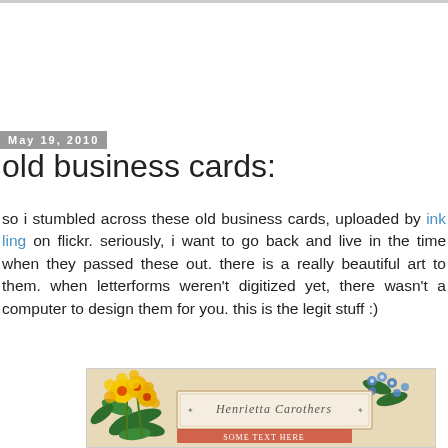May 19, 2010
old business cards:
so i stumbled across these old business cards, uploaded by ink ling on flickr. seriously, i want to go back and live in the time when they passed these out. there is a really beautiful art to them. when letterforms weren't digitized yet, there wasn't a computer to design them for you. this is the legit stuff :)
[Figure (photo): An old Victorian-style business card with ornate floral decorations (yellow and orange flowers with green leaves) and decorative gothic/blackletter typography reading 'Henrietta Carothers']